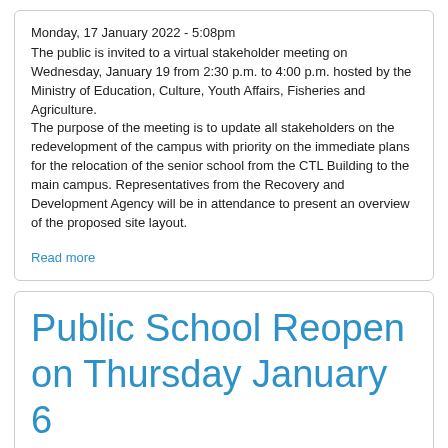Monday, 17 January 2022 - 5:08pm
The public is invited to a virtual stakeholder meeting on Wednesday, January 19 from 2:30 p.m. to 4:00 p.m. hosted by the Ministry of Education, Culture, Youth Affairs, Fisheries and Agriculture.
The purpose of the meeting is to update all stakeholders on the redevelopment of the campus with priority on the immediate plans for the relocation of the senior school from the CTL Building to the main campus. Representatives from the Recovery and Development Agency will be in attendance to present an overview of the proposed site layout.
Read more
Public School Reopen on Thursday January 6
Topic: Educational | Posted | Posted by: ..